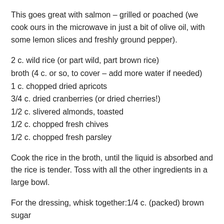This goes great with salmon – grilled or poached (we cook ours in the microwave in just a bit of olive oil, with some lemon slices and freshly ground pepper).
2 c. wild rice (or part wild, part brown rice)
broth (4 c. or so, to cover – add more water if needed)
1 c. chopped dried apricots
3/4 c. dried cranberries (or dried cherries!)
1/2 c. slivered almonds, toasted
1/2 c. chopped fresh chives
1/2 c. chopped fresh parsley
Cook the rice in the broth, until the liquid is absorbed and the rice is tender. Toss with all the other ingredients in a large bowl.
For the dressing, whisk together:1/4 c. (packed) brown sugar 1/2 c. cider vinegar 1 T. brown mustard